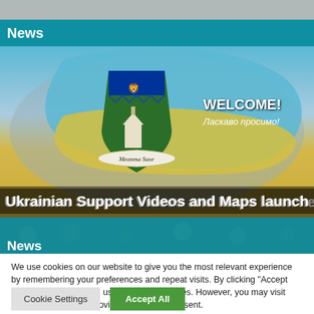News
[Figure (photo): Ukrainian support graphic showing the map of Ukraine in blue and yellow with a county crest/shield featuring a green background with a church and the text 'Meanma Saor'. Text overlay reads 'WELCOME! Ласкаво просимо!']
Ukrainian Support Videos and Maps launched
News
We use cookies on our website to give you the most relevant experience by remembering your preferences and repeat visits. By clicking "Accept All", you consent to the use of ALL the cookies. However, you may visit "Cookie Settings" to provide a controlled consent.
Cookie Settings
Accept All